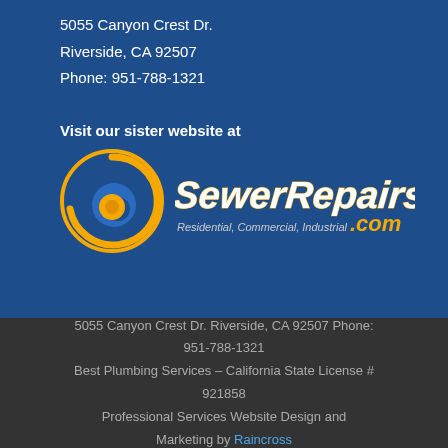5055 Canyon Crest Dr.
Riverside, CA 92507
Phone: 951-788-1321
Visit our sister website at
[Figure (logo): SewerRepairs.com logo with circular blue/yellow swirl icon and italic white/yellow text reading 'SewerRepairs.com Residential, Commercial, Industrial']
5055 Canyon Crest Dr. Riverside, CA 92507 Phone: 951-788-1321
Best Plumbing Services – California State License # 921858
Professional Services Website Design and Marketing by Raincross